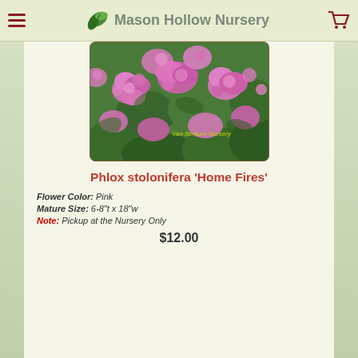Mason Hollow Nursery
[Figure (photo): Phlox stolonifera 'Home Fires' pink flowers in bloom, dense ground cover with bright pink flowers and green leaves. Watermark reads 'Van Berkum Nursery'.]
Phlox stolonifera 'Home Fires'
Flower Color: Pink
Mature Size: 6-8"t x 18"w
Note: Pickup at the Nursery Only
$12.00